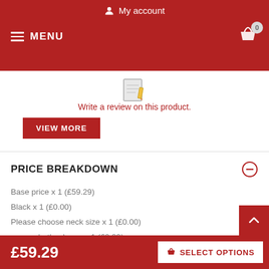My account
Write a review on this product.
VIEW MORE
PRICE BREAKDOWN
Base price x 1 (£59.29)
Black x 1 (£0.00)
Please choose neck size x 1 (£0.00)
no need - thank you x 1 (£0.00)
£59.29  SELECT OPTIONS